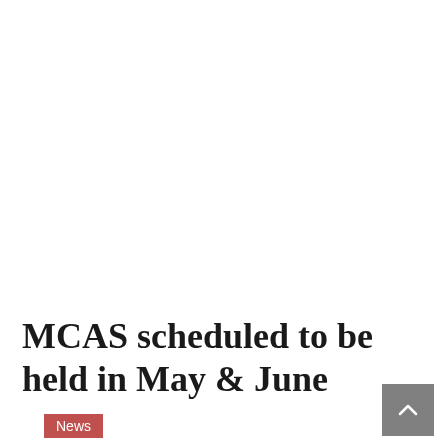MCAS scheduled to be held in May & June
News